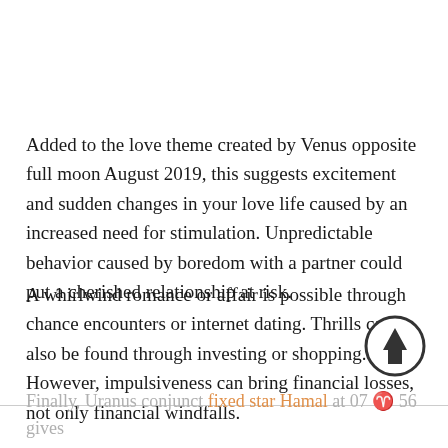Added to the love theme created by Venus opposite full moon August 2019, this suggests excitement and sudden changes in your love life caused by an increased need for stimulation. Unpredictable behavior caused by boredom with a partner could put a cherished relationship at risk.
A whirlwind romance or affair is possible through chance encounters or internet dating. Thrills can also be found through investing or shopping. However, impulsiveness can bring financial losses, not only financial windfalls.
[Figure (illustration): A circular up-arrow icon (scroll-to-top button) with a thick border circle and upward pointing arrow inside, positioned at the right side overlapping the second text paragraph.]
Finally, Uranus conjunct fixed star Hamal at 07 ♈ 56 gives